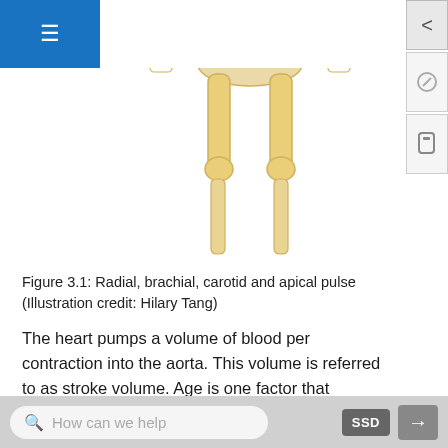[Figure (illustration): Anatomical illustration showing the lower body skeleton from the front, highlighting bones of the legs and hip area. Red dots mark pulse points at the wrists/hands and shoulders. The illustration depicts radial, brachial, carotid and apical pulse locations.]
Figure 3.1: Radial, brachial, carotid and apical pulse (Illustration credit: Hilary Tang)
The heart pumps a volume of blood per contraction into the aorta. This volume is referred to as stroke volume. Age is one factor that influences stroke volume, which ranges from 5–80 mL from newborns to older adults.
Pulse is measured in beats per minute, and the normal adult pulse rate (heart rate) at rest is 60–100 beats per